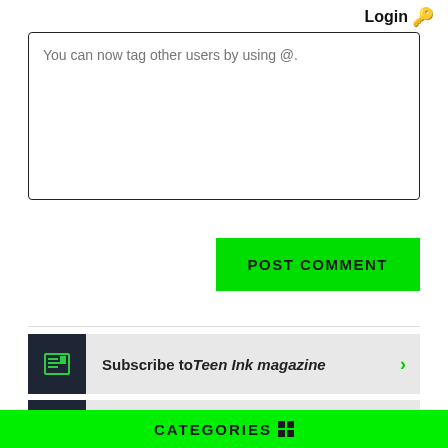Login 🔑
You can now tag other users by using @.
POST COMMENT
Subscribe to Teen Ink magazine >
Submit to Teen Ink >
Find A College >
CATEGORIES ⊞